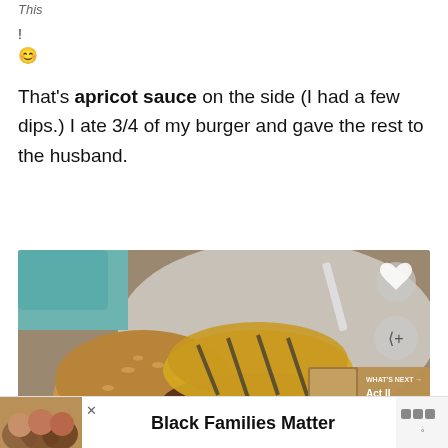This
!
😊
That's apricot sauce on the side (I had a few dips.) I ate 3/4 of my burger and gave the rest to the husband.
[Figure (photo): A burger with a seeded bun topped with grilled pineapple slices on a white plate, with a small bowl of sauce visible. The photo has a heart icon and share icon overlay on the right side, and a 'WHAT'S NEXT → Act II' thumbnail in the bottom right corner.]
Black Families Matter